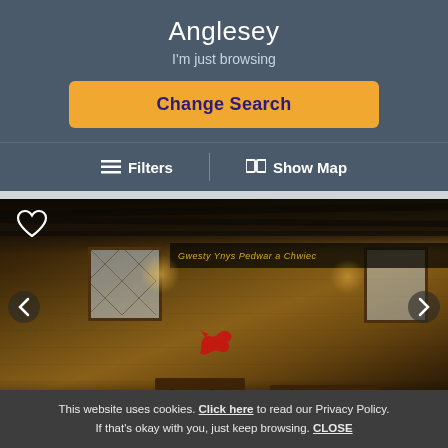Anglesey
I'm just browsing
Change Search
≡  Filters    |    □□  Show Map
[Figure (photo): Interior of a rustic Welsh pub/restaurant with stone walls, dark wooden beams, diamond-pane windows, warm lighting, wooden tables and chairs, and a red Welsh dragon decoration. A sign in Welsh reads 'Pedwar a Chwiec' or similar.]
This website uses cookies. Click here to read our Privacy Policy. If that's okay with you, just keep browsing. CLOSE